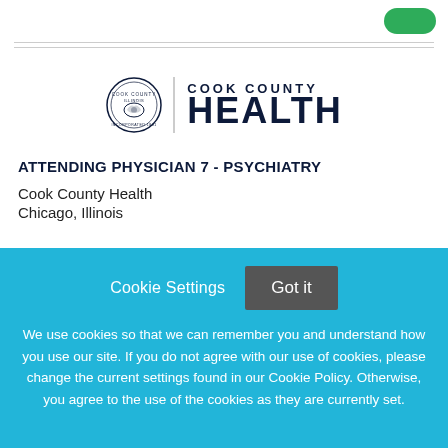[Figure (logo): Cook County Health logo with seal and text]
ATTENDING PHYSICIAN 7 - PSYCHIATRY
Cook County Health
Chicago, Illinois
Cookie Settings
Got it
We use cookies so that we can remember you and understand how you use our site. If you do not agree with our use of cookies, please change the current settings found in our Cookie Policy. Otherwise, you agree to the use of the cookies as they are currently set.